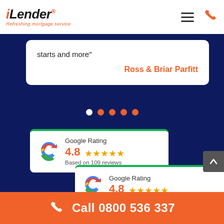[Figure (logo): iLender logo with tagline 'Refreshing mortgage service']
starts and more"
Ross & Briar Parfitt
[Figure (other): Carousel navigation dots, one white active and four orange inactive]
[Figure (other): Google Rating widget card 1: 4.8 stars, Based on 109 reviews]
[Figure (other): Google Rating widget card 2: 4.8 stars (partially visible)]
Call 0800 536 337